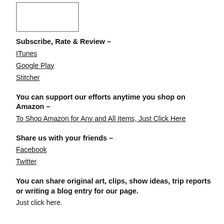[Figure (other): Blank bordered image box]
Subscribe, Rate & Review –
ITunes
Google Play
Stitcher
You can support our efforts anytime you shop on Amazon –
To Shop Amazon for Any and All Items, Just Click Here
Share us with your friends –
Facebook
Twitter
You can share original art, clips, show ideas, trip reports or writing a blog entry for our page.
Just click here.